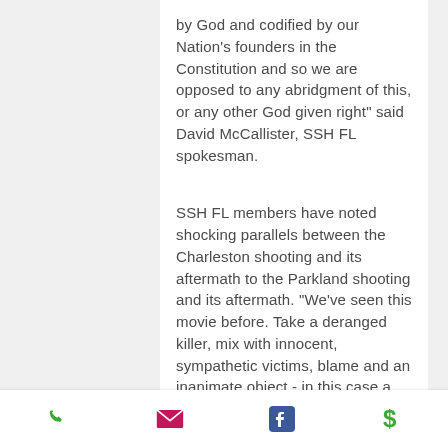by God and codified by our Nation's founders in the Constitution and so we are opposed to any abridgment of this, or any other God given right" said David McCallister, SSH FL spokesman.
SSH FL members have noted shocking parallels between the Charleston shooting and its aftermath to the Parkland shooting and its aftermath. "We've seen this movie before.  Take a deranged killer, mix with innocent, sympathetic victims, blame and an inanimate object - in this case a firearm, in that case, a flag -  and then exploit the tragedy to ban that inanimate object"
[Figure (infographic): Bottom navigation bar with four icons: green phone icon, pink/magenta email envelope icon, blue Facebook icon, green dollar sign icon]